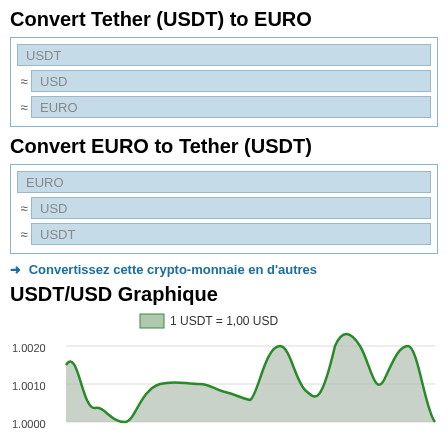Convert Tether (USDT) to EURO
USDT input field
≈ USD
≈ EURO
Convert EURO to Tether (USDT)
EURO input field
≈ USD
≈ USDT
➜ Convertissez cette crypto-monnaie en d'autres
USDT/USD Graphique
[Figure (area-chart): Area chart showing USDT/USD exchange rate over time. Legend: 1 USDT = 1,00 USD. Y-axis labels: 1.0020, 1.0010, 1.0000. The line fluctuates between approximately 1.0000 and 1.0020, with multiple peaks reaching near 1.0020 and troughs near 1.0000. Filled area in grey, line in green.]